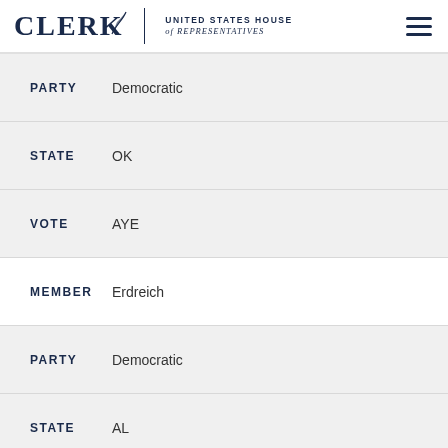CLERK United States House of Representatives
PARTY Democratic
STATE OK
VOTE AYE
MEMBER Erdreich
PARTY Democratic
STATE AL
VOTE AYE